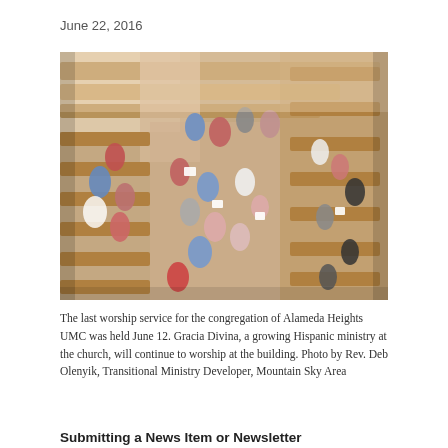June 22, 2016
[Figure (photo): Aerial/overhead view of a church interior showing congregation members standing and sitting in wooden pews, many holding papers, during what appears to be a worship service.]
The last worship service for the congregation of Alameda Heights UMC was held June 12. Gracia Divina, a growing Hispanic ministry at the church, will continue to worship at the building. Photo by Rev. Deb Olenyik, Transitional Ministry Developer, Mountain Sky Area
Submitting a News Item or Newsletter